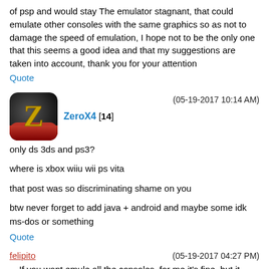of psp and would stay The emulator stagnant, that could emulate other consoles with the same graphics so as not to damage the speed of emulation, I hope not to be the only one that this seems a good idea and that my suggestions are taken into account, thank you for your attention
Quote
[Figure (illustration): Avatar icon with a gold letter Z on a dark red/black gradient background with rounded corners]
ZeroX4 [14]
(05-19-2017 10:14 AM)
only ds 3ds and ps3?
where is xbox wiiu wii ps vita
that post was so discriminating shame on you
btw never forget to add java + android and maybe some idk ms-dos or something
Quote
felipito
(05-19-2017 04:27 PM)
If you want emule all the consoles, for me it's fine, but it would be a much bigger job and there are already emulators that work well for the consoles...